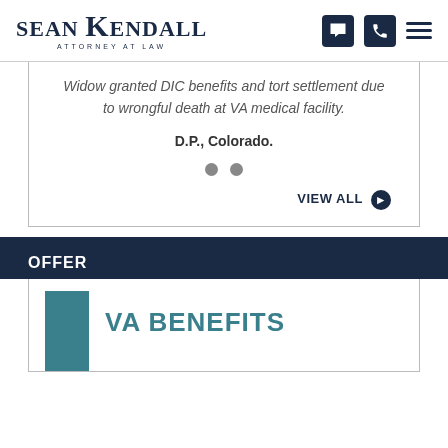[Figure (logo): Sean Kendall Attorney at Law logo with navigation icons]
Widow granted DIC benefits and tort settlement due to wrongful death at VA medical facility.
D.P., Colorado.
VIEW ALL
OFFER
VA BENEFITS